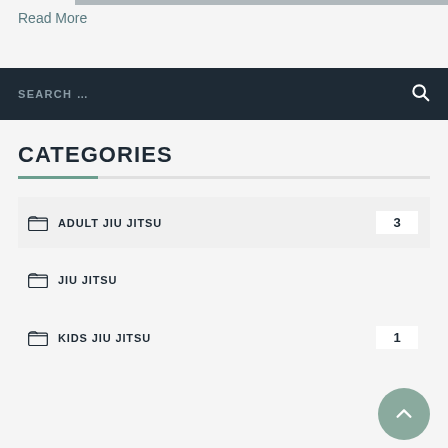Read More
SEARCH …
CATEGORIES
ADULT JIU JITSU 3
JIU JITSU
KIDS JIU JITSU 1